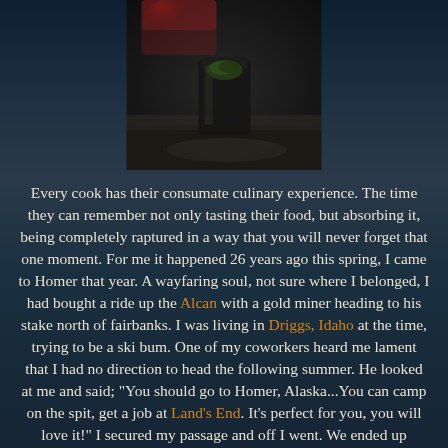[Figure (photo): Close-up photo of what appears to be a glass jar or container with green herbs/plants visible, on a dark surface with reddish element in background. Dark, moody lighting.]
Every cook has their consumate culinary experience. The time they can remember not only tasting their food, but absorbing it, being completely raptured in a way that you will never forget that one moment. For me it happened 26 years ago this spring, I came to Homer that year. A wayfaring soul, not sure where I belonged, I had bought a ride up the Alcan with a gold miner heading to his stake north of fairbanks. I was living in Driggs, Idaho at the time, trying to be a ski bum. One of my coworkers heard me lament that I had no direction to head the following summer. He looked at me and said; "You should go to Homer, Alaska...You can camp on the spit, get a job at Land's End. It's perfect for you, you will love it!" I secured my passage and off I went. We ended up caravanning with a group of climber friends headed to summit Mt. Lucania in the Kluane Range of the Canadian Rockies. We celebrated my 22nd birthday with marguaritas at a mexican restaurant in Banf, Alberta, where the mountains soar to the sky right from the roadside. Completely enraptured by the changing scenery, I slept outside as